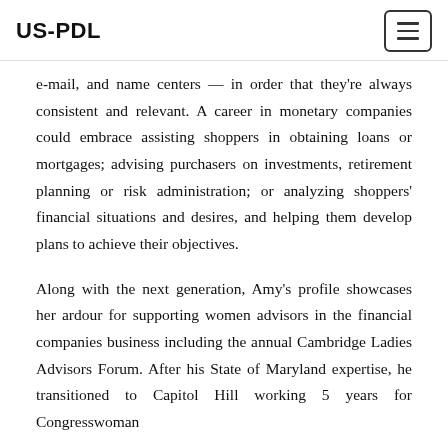US-PDL
e-mail, and name centers — in order that they're always consistent and relevant. A career in monetary companies could embrace assisting shoppers in obtaining loans or mortgages; advising purchasers on investments, retirement planning or risk administration; or analyzing shoppers' financial situations and desires, and helping them develop plans to achieve their objectives.
Along with the next generation, Amy's profile showcases her ardour for supporting women advisors in the financial companies business including the annual Cambridge Ladies Advisors Forum. After his State of Maryland expertise, he transitioned to Capitol Hill working 5 years for Congresswoman